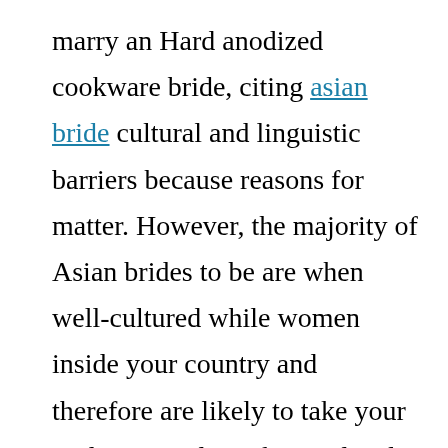marry an Hard anodized cookware bride, citing asian bride cultural and linguistic barriers because reasons for matter. However, the majority of Asian brides to be are when well-cultured while women inside your country and therefore are likely to take your traditions and speak your local language. Whether or not they did not really attend a prestigious school, you can feel safe that they are simply because smart and cultured every woman in your nation. Here are some